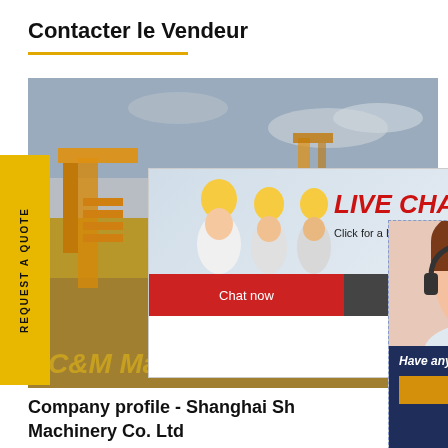Contacter le Vendeur
[Figure (screenshot): Main industrial/mining site image with yellow machinery, gravel, dark yellow C&M Ma text watermark, and overlaid live chat popup and customer service sidebar popup]
REQUEST A QUOTE
[Figure (screenshot): Live chat popup overlay with workers in hard hats, LIVE CHAT heading in red italic, 'Click for a Free Consultation' subtext, Chat now button in red and Chat later button in dark gray]
[Figure (screenshot): Right side customer service popup with woman wearing headset, dark blue bottom section with italic text 'Have any requests, click here.' and gold Quotation button, X close button]
Company profile - Shanghai Sh
Machinery Co. Ltd